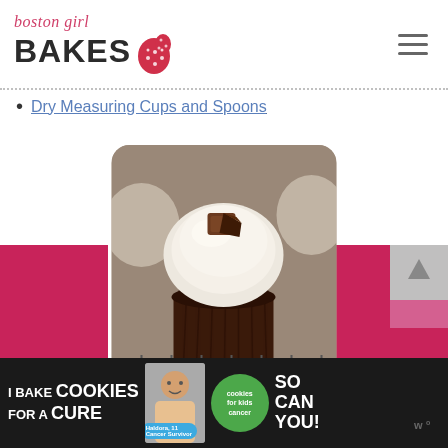boston girl BAKES
Dry Measuring Cups and Spoons
[Figure (photo): A chocolate cupcake with fluffy white/cream frosting topped with a chocolate cookie and chocolate piece, shown close-up on a cooling rack]
[Figure (infographic): Advertisement banner: I Bake COOKIES For A CURE - Haldora, 11 Cancer Survivor - So can you! - cookies for kids cancer]